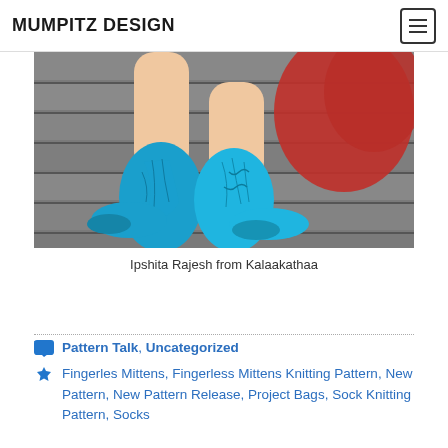MUMPITZ DESIGN
[Figure (photo): Person's feet wearing bright blue knitted socks resting on wooden steps with a red garment visible in the background]
Ipshita Rajesh from Kalaakathaa
Pattern Talk, Uncategorized
Fingerles Mittens, Fingerless Mittens Knitting Pattern, New Pattern, New Pattern Release, Project Bags, Sock Knitting Pattern, Socks